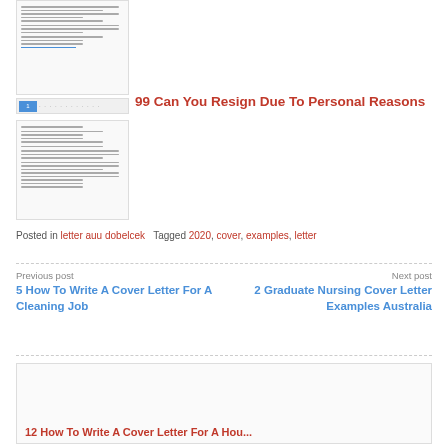[Figure (screenshot): Screenshot of a document preview showing a formatted letter with lines of text, a link, and a pagination bar.]
99 Can You Resign Due To Personal Reasons
[Figure (screenshot): Screenshot of a second document preview showing a formatted resignation or cover letter.]
Posted in letter auu dobelcek  Tagged 2020, cover, examples, letter
Previous post
5 How To Write A Cover Letter For A Cleaning Job
Next post
2 Graduate Nursing Cover Letter Examples Australia
12 How To Write A Cover Letter For A Hou...